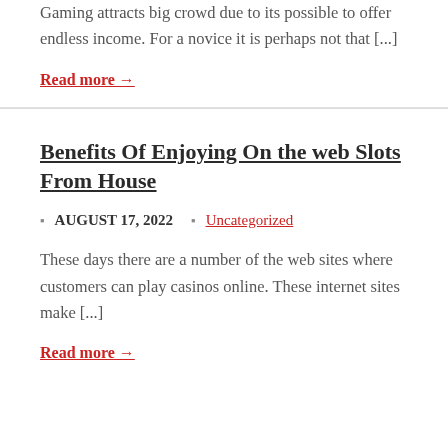Gaming attracts big crowd due to its possible to offer endless income. For a novice it is perhaps not that [...]
Read more →
Benefits Of Enjoying On the web Slots From House
AUGUST 17, 2022  Uncategorized
These days there are a number of the web sites where customers can play casinos online. These internet sites make [...]
Read more →